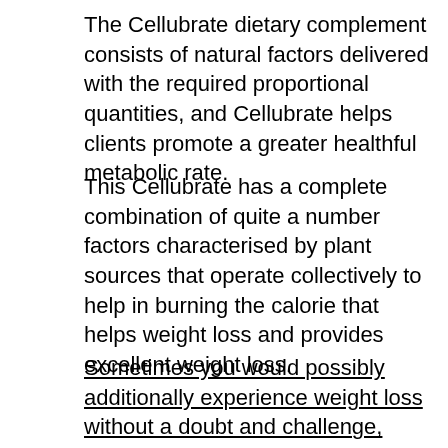The Cellubrate dietary complement consists of natural factors delivered with the required proportional quantities, and Cellubrate helps clients promote a greater healthful metabolic rate.
This Cellubrate has a complete combination of quite a number factors characterised by plant sources that operate collectively to help in burning the calorie that helps weight loss and provides excellent weight loss.
Sometimes you would possibly additionally experience weight loss without a doubt and challenge, alternatively with the help of Cellubrate, you will get the viewed cease end result that gives an giant weight loss. Then with a few everyday use, you will get the most impact.